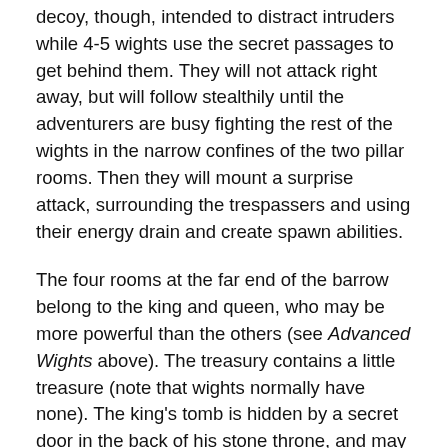decoy, though, intended to distract intruders while 4-5 wights use the secret passages to get behind them. They will not attack right away, but will follow stealthily until the adventurers are busy fighting the rest of the wights in the narrow confines of the two pillar rooms. Then they will mount a surprise attack, surrounding the trespassers and using their energy drain and create spawn abilities.
The four rooms at the far end of the barrow belong to the king and queen, who may be more powerful than the others (see Advanced Wights above). The treasury contains a little treasure (note that wights normally have none). The king's tomb is hidden by a secret door in the back of his stone throne, and may contain some magical treasures or other special items.